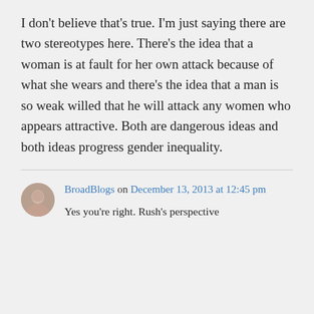I don't believe that's true. I'm just saying there are two stereotypes here. There's the idea that a woman is at fault for her own attack because of what she wears and there's the idea that a man is so weak willed that he will attack any women who appears attractive. Both are dangerous ideas and both ideas progress gender inequality.
BroadBlogs on December 13, 2013 at 12:45 pm
Yes you're right. Rush's perspective